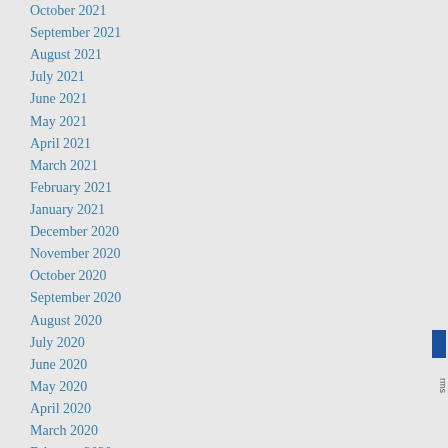October 2021
September 2021
August 2021
July 2021
June 2021
May 2021
April 2021
March 2021
February 2021
January 2021
December 2020
November 2020
October 2020
September 2020
August 2020
July 2020
June 2020
May 2020
April 2020
March 2020
February 2020
January 2020
December 2019
November 2019
October 2019
September 2019